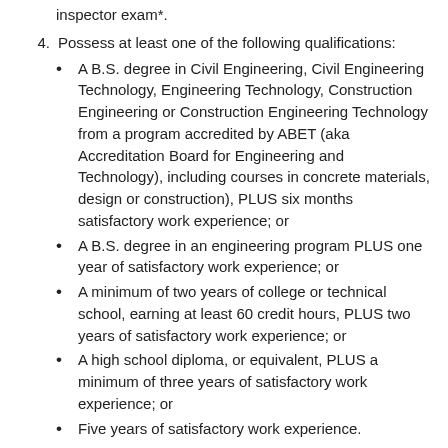inspector exam*.
4. Possess at least one of the following qualifications:
A B.S. degree in Civil Engineering, Civil Engineering Technology, Engineering Technology, Construction Engineering or Construction Engineering Technology from a program accredited by ABET (aka Accreditation Board for Engineering and Technology), including courses in concrete materials, design or construction), PLUS six months satisfactory work experience; or
A B.S. degree in an engineering program PLUS one year of satisfactory work experience; or
A minimum of two years of college or technical school, earning at least 60 credit hours, PLUS two years of satisfactory work experience; or
A high school diploma, or equivalent, PLUS a minimum of three years of satisfactory work experience; or
Five years of satisfactory work experience.
The work experience must include:
Decision-making authority and responsibility;
Verification of compliance with plans, specifications